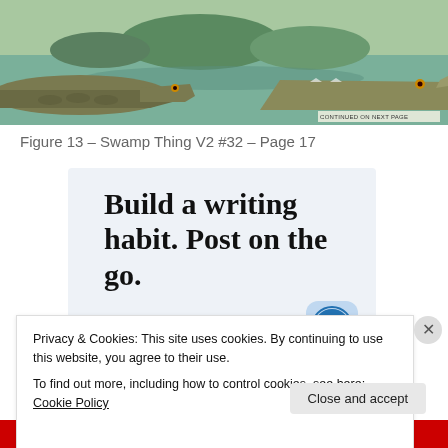[Figure (illustration): Comic book panel showing swamp scene with crocodiles/alligators, colored in greens and browns, with a 'CONTINUED ON NEXT PAGE' label in the bottom right corner.]
Figure 13 – Swamp Thing V2 #32 – Page 17
[Figure (infographic): WordPress advertisement with light blue background. Text reads: 'Build a writing habit. Post on the go.' with a 'GET THE APP' link and WordPress circular logo icon.]
Privacy & Cookies: This site uses cookies. By continuing to use this website, you agree to their use.
To find out more, including how to control cookies, see here: Cookie Policy
Close and accept